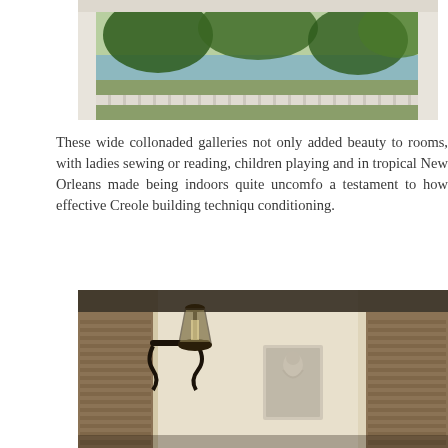[Figure (photo): View through white-columned colonnaded gallery porch looking out toward trees and a body of water in the background, with white railings visible.]
These wide collonaded galleries not only added beauty to rooms, with ladies sewing or reading, children playing and in tropical New Orleans made being indoors quite uncomfortable, a testament to how effective Creole building techniques were before air conditioning.
[Figure (photo): Close-up view of a historic New Orleans building exterior featuring an ornate wrought-iron lantern/lamp fixture hanging from a bracket, wooden louvered shutters on either side, and a decorative bas-relief plaque of a figure mounted on a white stucco wall.]